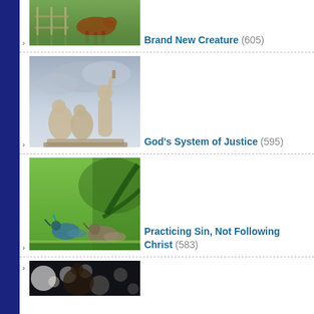[Figure (photo): Partial view of a foal/young horse running on green grass near a fence]
Brand New Creature (605)
[Figure (photo): Stone sculpture of three figures, one raising an arm, against a cloudy sky]
God's System of Justice (595)
[Figure (photo): Two peacocks/birds on green grass with trees in background]
Practicing Sin, Not Following Christ (583)
[Figure (photo): Partial view of a person with bright bokeh lights in background]